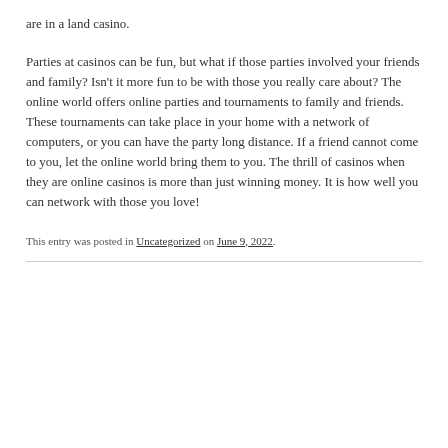are in a land casino.
Parties at casinos can be fun, but what if those parties involved your friends and family? Isn't it more fun to be with those you really care about? The online world offers online parties and tournaments to family and friends. These tournaments can take place in your home with a network of computers, or you can have the party long distance. If a friend cannot come to you, let the online world bring them to you. The thrill of casinos when they are online casinos is more than just winning money. It is how well you can network with those you love!
This entry was posted in Uncategorized on June 9, 2022.